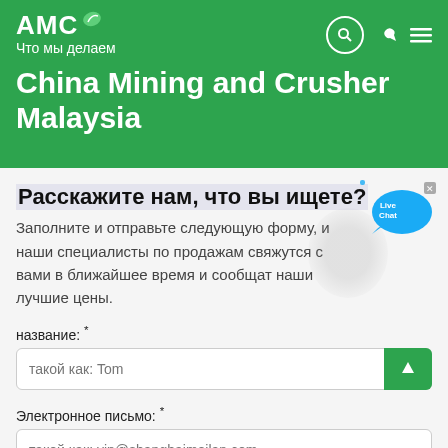AMC — Что мы делаем
China Mining and Crusher Malaysia
Расскажите нам, что вы ищете?
Заполните и отправьте следующую форму, и наши специалисты по продажам свяжутся с вами в ближайшее время и сообщат наши лучшие цены.
название: *
такой как: Tom
Электронное письмо: *
такой как: vip@shanghaimeilan.com
Телефон: *